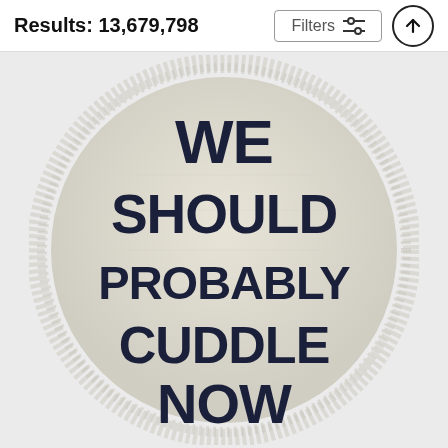Results: 13,679,798
[Figure (photo): Round beach towel with fringe edges on a light background. The towel is cream/off-white colored with bold dark navy text reading: WE SHOULD PROBABLY CUDDLE NOW]
Filters